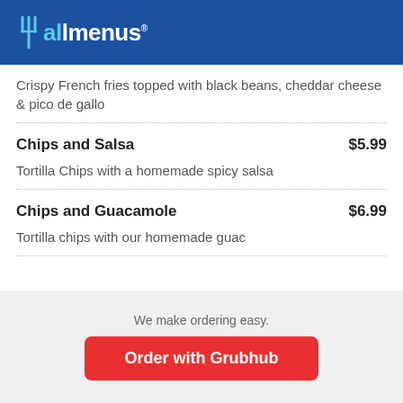allmenus
Crispy French fries topped with black beans, cheddar cheese & pico de gallo
Chips and Salsa $5.99
Tortilla Chips with a homemade spicy salsa
Chips and Guacamole $6.99
Tortilla chips with our homemade guac
Loaded Nachos
We make ordering easy.
Order with Grubhub